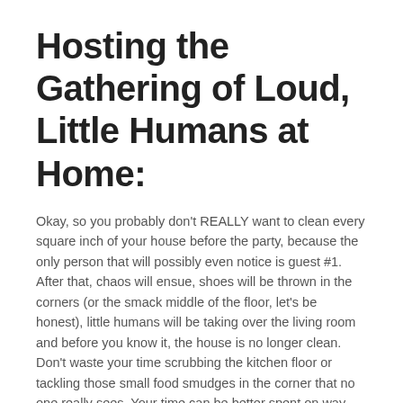Hosting the Gathering of Loud, Little Humans at Home:
Okay, so you probably don't REALLY want to clean every square inch of your house before the party, because the only person that will possibly even notice is guest #1. After that, chaos will ensue, shoes will be thrown in the corners (or the smack middle of the floor, let's be honest), little humans will be taking over the living room and before you know it, the house is no longer clean. Don't waste your time scrubbing the kitchen floor or tackling those small food smudges in the corner that no one really sees. Your time can be better spent on way more important things that your guests, and more importantly the birthday child, will actually notice. Like food, food and food. And it might be important to add here that cake, and delicious desserts, fall into the food category. Decorations, party supplies, goodie bags